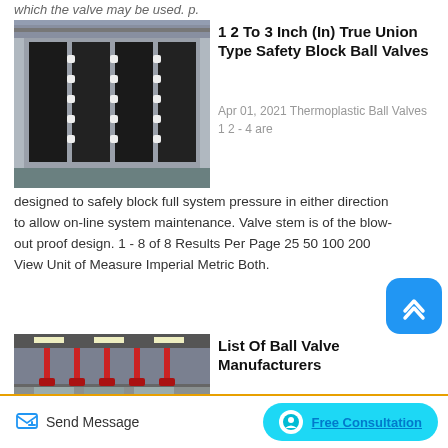which the valve may be used. p.
[Figure (photo): Industrial factory photo showing large black and white thermoplastic ball valves or similar industrial equipment stacked in a manufacturing facility]
1 2 To 3 Inch (In) True Union Type Safety Block Ball Valves
Apr 01, 2021 Thermoplastic Ball Valves 1 2 - 4 are designed to safely block full system pressure in either direction to allow on-line system maintenance. Valve stem is of the blow-out proof design. 1 - 8 of 8 Results Per Page 25 50 100 200 View Unit of Measure Imperial Metric Both.
[Figure (photo): Industrial factory interior showing red valve assemblies hanging from ceiling with large floor panels]
List Of Ball Valve Manufacturers
Ball valves is a spherical
Send Message
Free Consultation